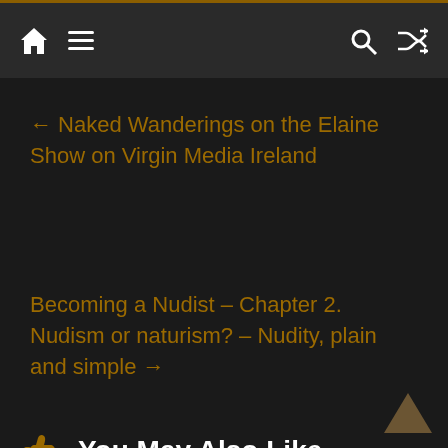Navigation bar with home, menu, search, and shuffle icons
← Naked Wanderings on the Elaine Show on Virgin Media Ireland
Becoming a Nudist – Chapter 2. Nudism or naturism? – Nudity, plain and simple →
👍 You May Also Like